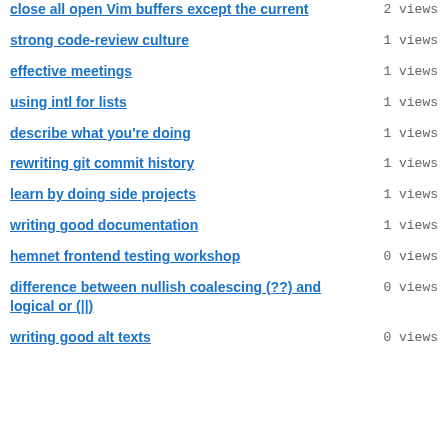close all open Vim buffers except the current
strong code-review culture
effective meetings
using intl for lists
describe what you're doing
rewriting git commit history
learn by doing side projects
writing good documentation
hemnet frontend testing workshop
difference between nullish coalescing (??) and logical or (||)
writing good alt texts